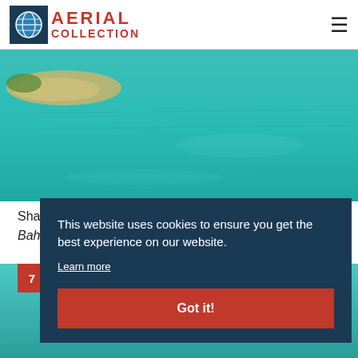AERIAL COLLECTION
[Figure (photo): Aerial photograph of shallow turquoise waters with a sandbank and green island visible]
Shallow waters, sandbanks, green islands
Bah...
[Figure (photo): Bottom partial aerial photo of water/landscape]
This website uses cookies to ensure you get the best experience on our website. Learn more Got it!